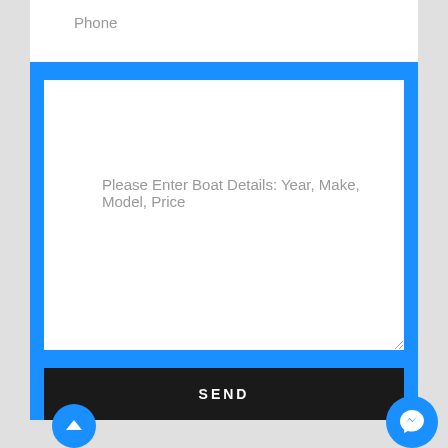Phone
Please Enter Boat Details: Year, Make, Model, Price
SEND